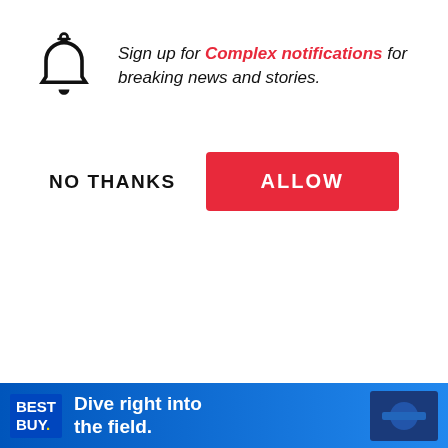Sign up for Complex notifications for breaking news and stories.
NO THANKS
ALLOW
though.
Swae Lee: Yeah, I w... was special. I was e...
Slim Jimmy: I date...
Swae Lee: His vers...
[Figure (screenshot): Canelo Álvarez holding snacks (Sabritas and Pulparindo) for Complex's Snacked video]
Canelo Álvarez BreaksDownHisFavoriteSnacks | Snacked
Slimi... r. It's m... ks
[Figure (infographic): Best Buy advertisement: Dive right into the field.]